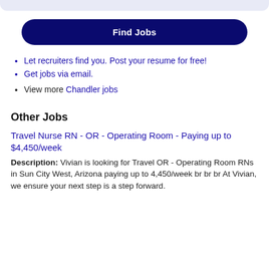[Figure (other): Top decorative bar in light blue/lavender color]
Find Jobs
Let recruiters find you. Post your resume for free!
Get jobs via email.
View more Chandler jobs
Other Jobs
Travel Nurse RN - OR - Operating Room - Paying up to $4,450/week
Description: Vivian is looking for Travel OR - Operating Room RNs in Sun City West, Arizona paying up to 4,450/week br br br At Vivian, we ensure your next step is a step forward.